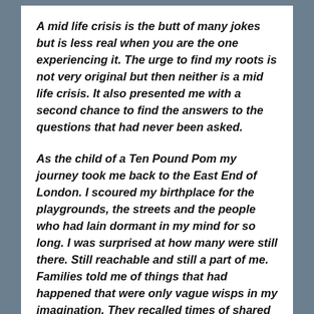A mid life crisis is the butt of many jokes but is less real when you are the one experiencing it. The urge to find my roots is not very original but then neither is a mid life crisis. It also presented me with a second chance to find the answers to the questions that had never been asked.
As the child of a Ten Pound Pom my journey took me back to the East End of London. I scoured my birthplace for the playgrounds, the streets and the people who had lain dormant in my mind for so long. I was surprised at how many were still there. Still reachable and still a part of me. Families told me of things that had happened that were only vague wisps in my imagination. They recalled times of shared memories that began the process of connectedness that I had never consciously realised was missing.